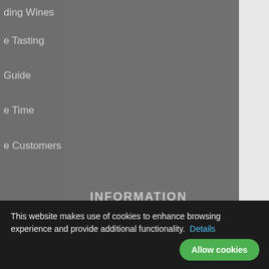ding Wines
e Tasting
Guide
e Time
e Customers
INFORMATION
Our Shops
Franchising
SOCIAL MEDIA
[Figure (other): Social media icons: fr (Flickr-style), Facebook, Twitter, Instagram]
This website makes use of cookies to enhance browsing experience and provide additional functionality.  Details
Allow cookies